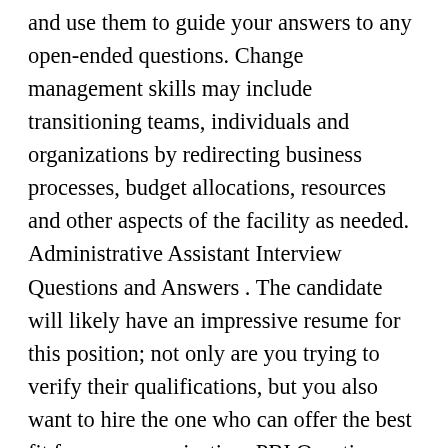and use them to guide your answers to any open-ended questions. Change management skills may include transitioning teams, individuals and organizations by redirecting business processes, budget allocations, resources and other aspects of the facility as needed. Administrative Assistant Interview Questions and Answers . The candidate will likely have an impressive resume for this position; not only are you trying to verify their qualifications, but you also want to hire the one who can offer the best fit for your organization. PBI Questions- Microsoft Word Version . Preparation is key for sounding polished and professional, so you definitely want to consider and rehearse your responses to common